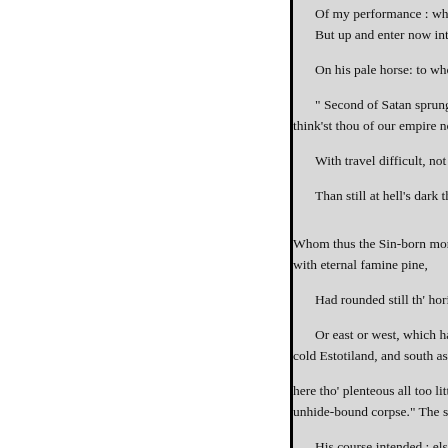Of my performance : what
But up and enter now into f

On his pale horse: to whom si

" Second of Satan sprung, all-
think'st thou of our empire now,

With travel difficult, not bette

Than still at hell's dark thresh


Whom thus the Sin-born monste
with eternal famine pine,

Had rounded still th' horizon,

Or east or west, which had fo
cold Estotiland, and south as far

here tho' plenteous all too little s
unhide-bound corpse." The sun,

His course intended ; else how
though sinless, more than now,
and scorching heat ? flowers,

These changes in the heavens,